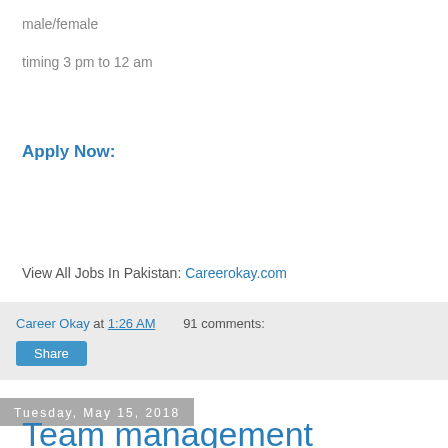male/female
timing 3 pm to 12 am
Apply Now:
View All Jobs In Pakistan: Careerokay.com
Career Okay at 1:26 AM   91 comments:
Share
Tuesday, May 15, 2018
Team management